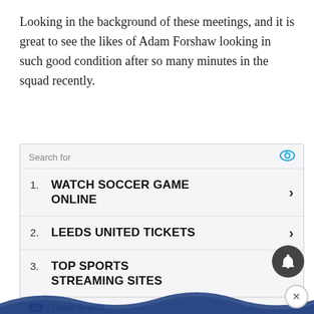Looking in the background of these meetings, and it is great to see the likes of Adam Forshaw looking in such good condition after so many minutes in the squad recently.
[Figure (infographic): Advertisement panel with search results listing: 1. WATCH SOCCER GAME ONLINE, 2. LEEDS UNITED TICKETS, 3. TOP SPORTS STREAMING SITES. Header shows 'Search for' with an eye icon. Footer shows 'Ad | Glocal Search'.]